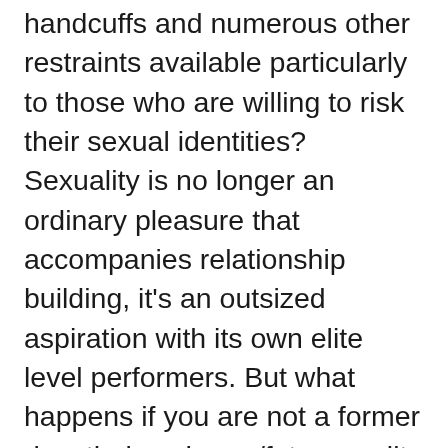handcuffs and numerous other restraints available particularly to those who are willing to risk their sexual identities? Sexuality is no longer an ordinary pleasure that accompanies relationship building, it's an outsized aspiration with its own elite level performers. But what happens if you are not a former decathalon champ/future reality television star who has spent her whole life meeting challenges? What happens if you don't like a challenge? What if you don't have the stuff of the legendary Thai boxer who used her earnings to cross the river Lethe which separates the man from the woman he wishes to be? What if you don't even care that much about sex and are too busy with the headaches of raising children and dealing with the everyday annoyances of living with another person to care whether you are a boy or a girl? What if you're simply too busy to realize your true self, to realize your being? One of the saddest things about modern life is the fact that there are so